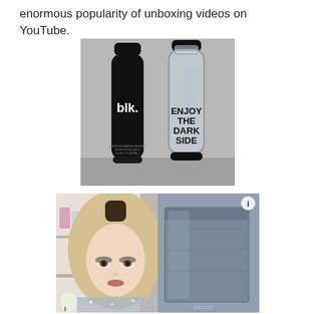enormous popularity of unboxing videos on YouTube.
[Figure (photo): Two water bottles side by side against a gray background. Left bottle is black with white text reading 'blk.' Right bottle is clear/transparent with black text reading 'ENJOY THE DARK SIDE'.]
[Figure (photo): Screenshot or thumbnail of an unboxing video showing a young blonde woman on the left side and a large package/box on the right side. There is an info icon (i) in the upper right corner.]